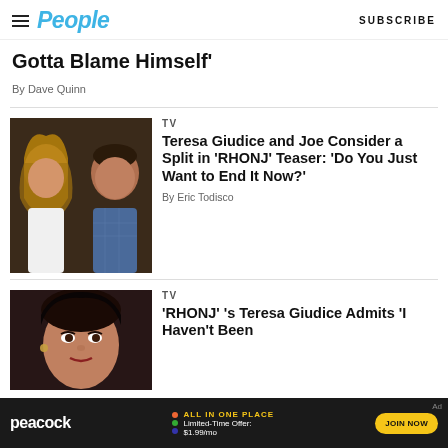People — SUBSCRIBE
Gotta Blame Himself'
By Dave Quinn
[Figure (photo): Two people side by side: a woman with long blonde hair and a man in a blue checked shirt]
TV
Teresa Giudice and Joe Consider a Split in 'RHONJ' Teaser: 'Do You Just Want to End It Now?'
By Eric Todisco
[Figure (photo): Woman with dark hair pulled back, looking to the side]
TV
'RHONJ' 's Teresa Giudice Admits 'I Haven't Been
[Figure (other): Peacock ad banner: ALL IN ONE PLACE, Limited-Time Offer: $1.99/mo, JOIN NOW]